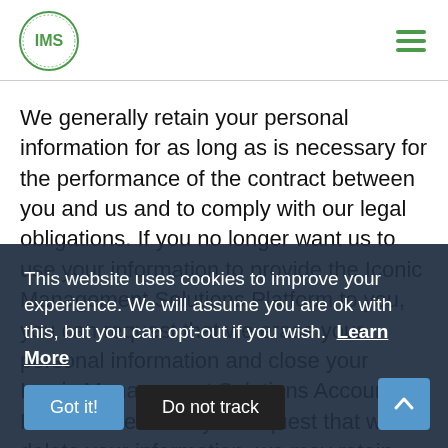[Figure (logo): IMS circular logo — green circle with 'IMS' text inside]
We generally retain your personal information for as long as is necessary for the performance of the contract between you and us and to comply with our legal obligations. If you no longer want us to use your information to provide the Iconic Management Solutions Platform to you, you can request that we erase your personal information and close your Iconic Management Solutions Account. Please note that if you request that we delete your information, we may retain some of your personal information as necessary for our legitimate business interests, and prevent fraud and enhancing safety. For example, if we suspen
This website uses cookies to improve your experience. We will assume you are ok with this, but you can opt-out if you wish.  Learn More